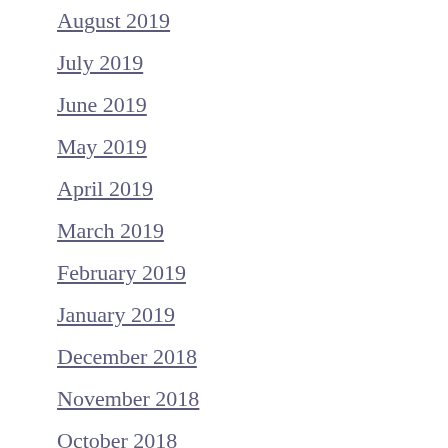August 2019
July 2019
June 2019
May 2019
April 2019
March 2019
February 2019
January 2019
December 2018
November 2018
October 2018
CATEGORIES
A.J. Greer Jersey
Aaron Dell Jersey
Albert Pujols Jersey